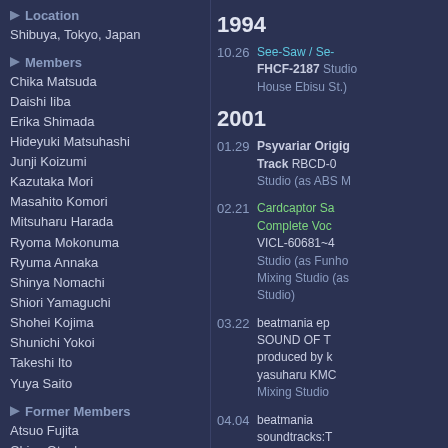Location
Shibuya, Tokyo, Japan
Members
Chika Matsuda
Daishi Iiba
Erika Shimada
Hideyuki Matsuhashi
Junji Koizumi
Kazutaka Mori
Masahito Komori
Mitsuharu Harada
Ryoma Mokonuma
Ryuma Annaka
Shinya Nomachi
Shiori Yamaguchi
Shohei Kojima
Shunichi Yokoi
Takeshi Ito
Yuya Saito
Former Members
Atsuo Fujita
Chiyo Otsuka
Keita Sasagawa
Koichi Ishida
Shigeki Kashii
Shunsuke Kitayama
Credited works
435 albums in database
2 products in database
Credits
360 recording studio
147 mixing studio
25 mastering studio
6 studio
1994
10.26 See-Saw / Se- FHCF-2187 Studio House Ebisu St.)
2001
01.29 Psyvariar Orig Track RBCD-0 Studio (as ABS M
02.21 Cardcaptor Sa Complete Voc VICL-60681~4 Studio (as Funho Mixing Studio (as Studio)
03.22 beatmania ep SOUND OF T produced by k yasuharu KMC Mixing Studio
04.04 beatmania soundtracks:T OF TOKYO pr KONISHI yasu 96 Mixing Studio
07.25 GAOGAIGAR CHARACTER